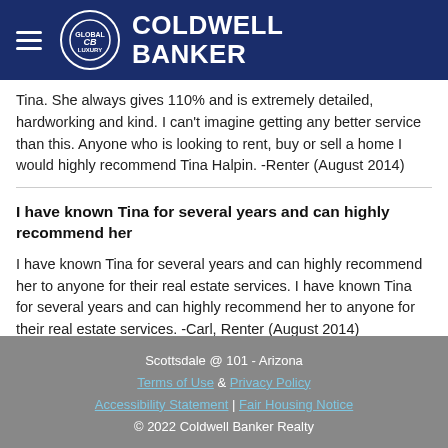COLDWELL BANKER
Tina. She always gives 110% and is extremely detailed, hardworking and kind. I can't imagine getting any better service than this. Anyone who is looking to rent, buy or sell a home I would highly recommend Tina Halpin. -Renter (August 2014)
I have known Tina for several years and can highly recommend her
I have known Tina for several years and can highly recommend her to anyone for their real estate services. I have known Tina for several years and can highly recommend her to anyone for their real estate services. -Carl, Renter (August 2014)
Scottsdale @ 101 - Arizona
Terms of Use & Privacy Policy
Accessibility Statement | Fair Housing Notice
© 2022 Coldwell Banker Realty